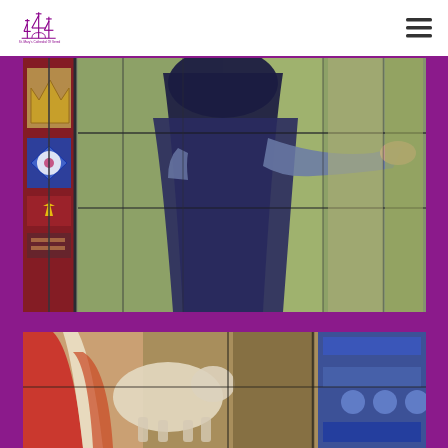[Figure (logo): St. Mary's Cathedral of Sered logo with spired building silhouette in purple/magenta]
[Figure (photo): Close-up of a stained glass window depicting a robed religious figure (nun or saint) in dark blue/black robes holding something, with colorful decorative glass panels on the left showing a crown and floral motifs]
[Figure (photo): Close-up of another stained glass window panel showing a religious figure with red and white robes, lamb imagery, and colorful blue decorative elements on the right]